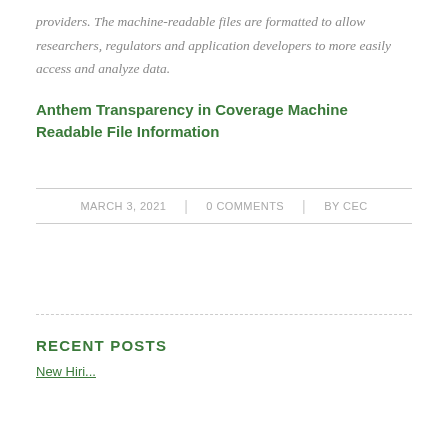providers. The machine-readable files are formatted to allow researchers, regulators and application developers to more easily access and analyze data.
Anthem Transparency in Coverage Machine Readable File Information
MARCH 3, 2021 | 0 COMMENTS | BY CEC
RECENT POSTS
New Hiri...